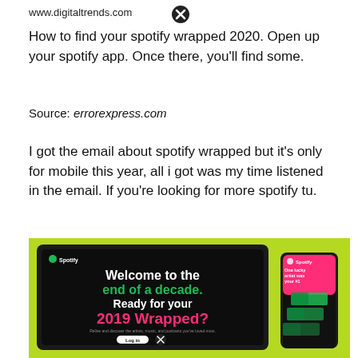www.digitaltrends.com
How to find your spotify wrapped 2020. Open up your spotify app. Once there, you'll find some.
Source: errorexpress.com
I got the email about spotify wrapped but it's only for mobile this year, all i got was my time listened in the email. If you're looking for more spotify tu.
[Figure (screenshot): Screenshot of Spotify Wrapped 2019 promotional page shown on a laptop and mobile phone against a bright green background. The laptop screen shows 'Welcome to the end of a decade. Ready for your 2019 Wrapped?' text with a log in button. The phone shows a pink Spotify screen with card graphics.]